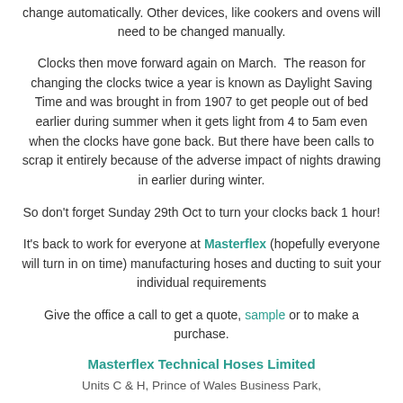change automatically. Other devices, like cookers and ovens will need to be changed manually.
Clocks then move forward again on March.  The reason for changing the clocks twice a year is known as Daylight Saving Time and was brought in from 1907 to get people out of bed earlier during summer when it gets light from 4 to 5am even when the clocks have gone back. But there have been calls to scrap it entirely because of the adverse impact of nights drawing in earlier during winter.
So don't forget Sunday 29th Oct to turn your clocks back 1 hour!
It's back to work for everyone at Masterflex (hopefully everyone will turn in on time) manufacturing hoses and ducting to suit your individual requirements
Give the office a call to get a quote, sample or to make a purchase.
Masterflex Technical Hoses Limited
Units C & H, Prince of Wales Business Park,